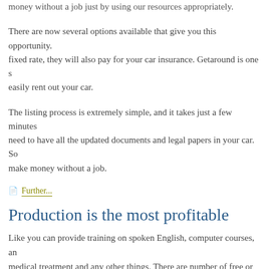money without a job just by using our resources appropriately.
There are now several options available that give you this opportunity. fixed rate, they will also pay for your car insurance. Getaround is one s easily rent out your car.
The listing process is extremely simple, and it takes just a few minutes need to have all the updated documents and legal papers in your car. So make money without a job.
Further...
Production is the most profitable
Like you can provide training on spoken English, computer courses, an medical treatment and any other things. There are number of free or pa internet that can train you for online trading. You can production is the production is the most profitable like Economic times or watch TV c atom price more expert in the field.